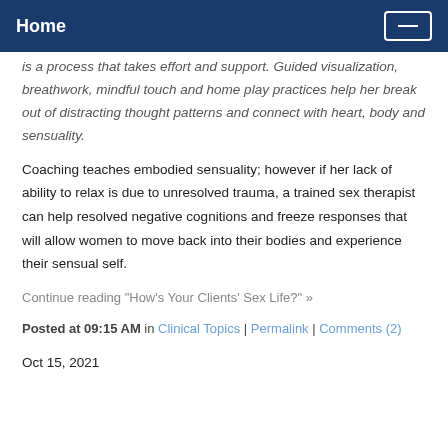Home
is a process that takes effort and support. Guided visualization, breathwork, mindful touch and home play practices help her break out of distracting thought patterns and connect with heart, body and sensuality.
Coaching teaches embodied sensuality; however if her lack of ability to relax is due to unresolved trauma, a trained sex therapist can help resolved negative cognitions and freeze responses that will allow women to move back into their bodies and experience their sensual self.
Continue reading "How's Your Clients' Sex Life?" »
Posted at 09:15 AM in Clinical Topics | Permalink | Comments (2)
Oct 15, 2021